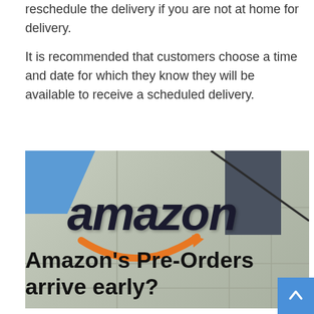reschedule the delivery if you are not at home for delivery.
It is recommended that customers choose a time and date for which they know they will be available to receive a scheduled delivery.
[Figure (photo): Amazon fulfillment center building exterior showing the Amazon logo (dark letters with orange arrow smile) on a light-colored wall, with blue sky visible in the upper left and a darker building structure in the upper right.]
Amazon's Pre-Orders arrive early?